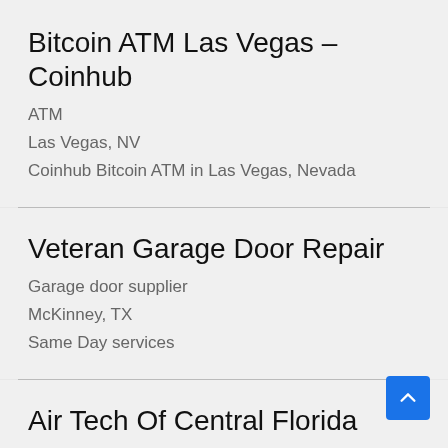Bitcoin ATM Las Vegas – Coinhub
ATM
Las Vegas, NV
Coinhub Bitcoin ATM in Las Vegas, Nevada
Veteran Garage Door Repair
Garage door supplier
McKinney, TX
Same Day services
Air Tech Of Central Florida
HVAC contractor